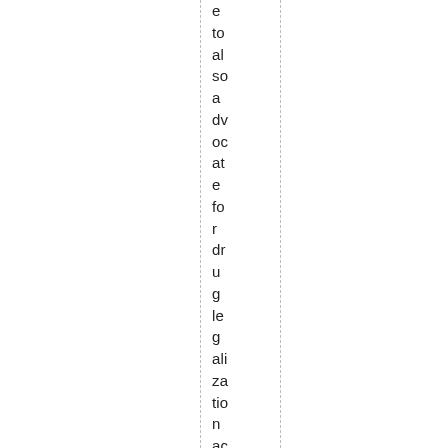e to al so a dv oc at e fo r dr u g le g ali za tio n ac ro ss th e b o ar d. T